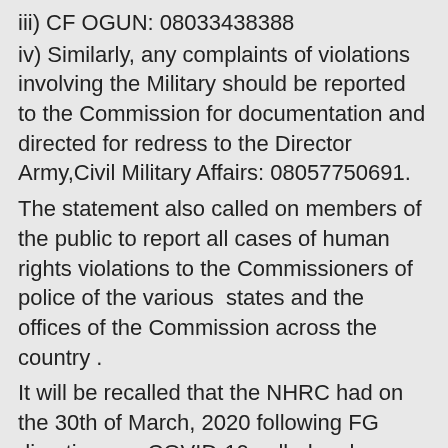iii) CF OGUN: 08033438388
iv) Similarly, any complaints of violations involving the Military should be reported to the Commission for documentation and directed for redress to the Director Army,Civil Military Affairs: 08057750691.
The statement also called on members of the public to report all cases of human rights violations to the Commissioners of police of the various  states and the offices of the Commission across the country .
It will be recalled that the NHRC had on the 30th of March, 2020 following FG directives on COVID-19 called on law enforcement agencies to refrain from all forms of torture, inhuman and